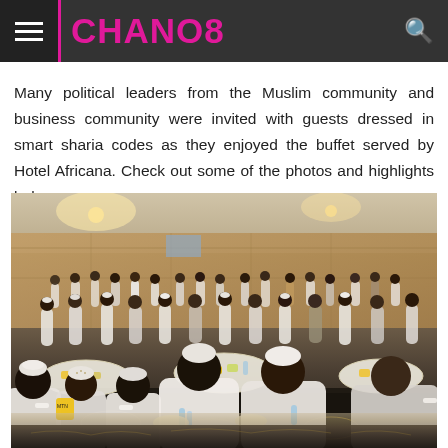CHANO8
Many political leaders from the Muslim community and business community were invited with guests dressed in smart sharia codes as they enjoyed the buffet served by Hotel Africana. Check out some of the photos and highlights below.
[Figure (photo): A large banquet hall filled with many guests seated at round tables, dressed in white Muslim/sharia attire, enjoying a buffet dinner at Hotel Africana. The hall has warm lighting with wooden-paneled walls.]